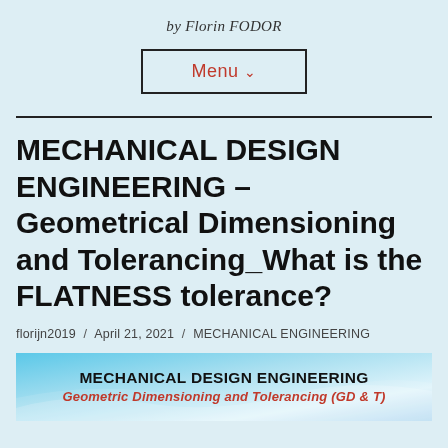by Florin FODOR
Menu ∨
MECHANICAL DESIGN ENGINEERING – Geometrical Dimensioning and Tolerancing_What is the FLATNESS tolerance?
florijn2019  /  April 21, 2021  /  MECHANICAL ENGINEERING
[Figure (illustration): Banner image for Mechanical Design Engineering: Geometric Dimensioning and Tolerancing (GD & T) with blue gradient background and decorative wave lines]